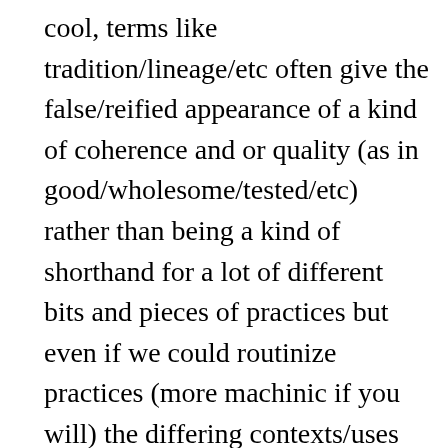cool, terms like tradition/lineage/etc often give the false/reified appearance of a kind of coherence and or quality (as in good/wholesome/tested/etc) rather than being a kind of shorthand for a lot of different bits and pieces of practices but even if we could routinize practices (more machinic if you will) the differing contexts/uses would make the effects different, it makes sense in terms of texts or the like to object to taking something out of context but one shouldn't stretch such speech-acts too far, in certain theo-logical hermeneutics one finds